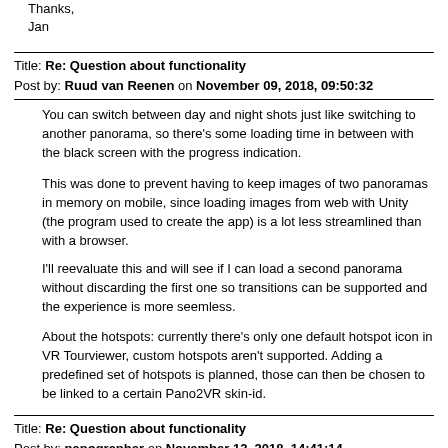Thanks,
Jan
Title: Re: Question about functionality
Post by: Ruud van Reenen on November 09, 2018, 09:50:32
You can switch between day and night shots just like switching to another panorama, so there's some loading time in between with the black screen with the progress indication.
This was done to prevent having to keep images of two panoramas in memory on mobile, since loading images from web with Unity (the program used to create the app) is a lot less streamlined than with a browser.
I'll reevaluate this and will see if I can load a second panorama without discarding the first one so transitions can be supported and the experience is more seemless.
About the hotspots: currently there's only one default hotspot icon in VR Tourviewer, custom hotspots aren't supported. Adding a predefined set of hotspots is planned, those can then be chosen to be linked to a certain Pano2VR skin-id.
Title: Re: Question about functionality
Post by: panographer on November 12, 2018, 14:41:14
I have a new question: